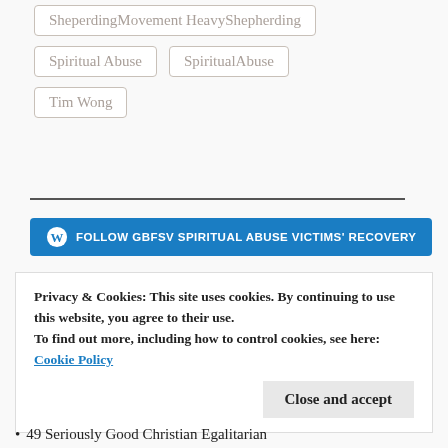SheperdingMovement HeavyShepherding
Spiritual Abuse
SpiritualAbuse
Tim Wong
[Figure (other): WordPress Follow button: Follow GBFSV SPIRITUAL ABUSE VICTIMS' RECOVERY]
Privacy & Cookies: This site uses cookies. By continuing to use this website, you agree to their use.
To find out more, including how to control cookies, see here:
Cookie Policy
49 Seriously Good Christian Egalitarian